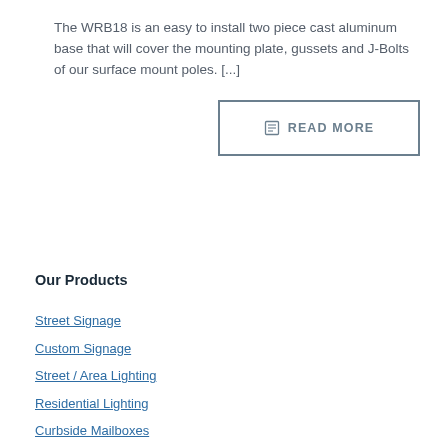The WRB18 is an easy to install two piece cast aluminum base that will cover the mounting plate, gussets and J-Bolts of our surface mount poles. [...]
READ MORE
Our Products
Street Signage
Custom Signage
Street / Area Lighting
Residential Lighting
Curbside Mailboxes
Wall Mount Mailboxes
Site Furnishings